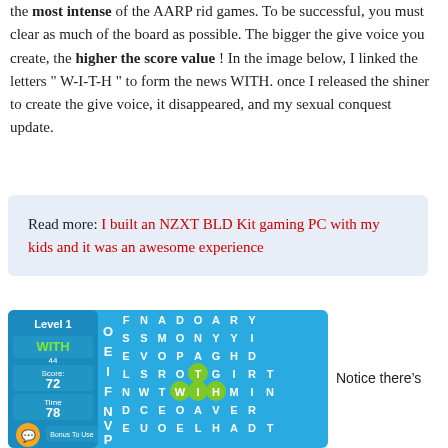the most intense of the AARP rid games. To be successful, you must clear as much of the board as possible. The bigger the give voice you create, the higher the score value ! In the image below, I linked the letters " W-I-T-H " to form the news WITH. once I released the shiner to create the give voice, it disappeared, and my sexual conquest update.
Read more: I built an NZXT BLD Kit gaming PC with my kids and it was an awesome experience
[Figure (screenshot): Word game screenshot showing a letter grid with Level 1, word WITH highlighted in green, Score: 72, Time: 78, and a Bonus To Use button. The grid shows letters F N A D O A R Y / S S M O N Y Y I / E V O P A G H D / L S R O T G I R T / F N W T W I H M I N / N V D C E O A V E R / P E U O E L H A D T]
Notice there's